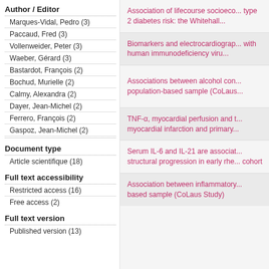Author / Editor
Marques-Vidal, Pedro (3)
Paccaud, Fred (3)
Vollenweider, Peter (3)
Waeber, Gérard (3)
Bastardot, François (2)
Bochud, Murielle (2)
Calmy, Alexandra (2)
Dayer, Jean-Michel (2)
Ferrero, François (2)
Gaspoz, Jean-Michel (2)
Document type
Article scientifique (18)
Full text accessibility
Restricted access (16)
Free access (2)
Full text version
Published version (13)
Association of lifecourse socioeconomic position and type 2 diabetes risk: the Whitehall...
Biomarkers and electrocardiography... with human immunodeficiency viru...
Associations between alcohol con... population-based sample (CoLaus...
TNF-α, myocardial perfusion and t... myocardial infarction and primary...
Serum IL-6 and IL-21 are associat... structural progression in early rhe... cohort
Association between inflammatory... based sample (CoLaus Study)